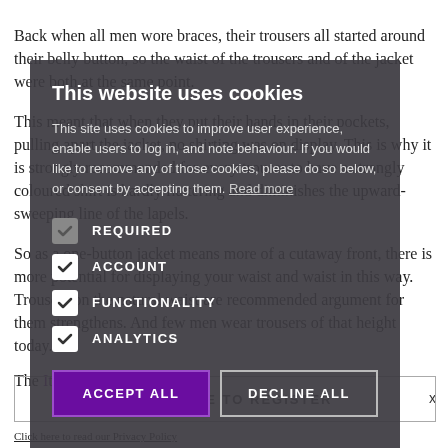Back when all men wore braces, their trousers all started around their belly button, so the waist of the trousers and of the jacket were both at the same point.
This meant that when they put their hands in their pockets, pulling apart the jacket, no shirting was on display. This is why it is strongly recommended for every trouser to have a strongly coloured shirt is hardly flattering and diminishes the upward-sweeping line of the lapels.
So as a one-button jacket means more of a cutaway front, there is more potential for displaying your waist and waist in this way. Trousers on the natural waist are recommended argument for them strengthens. And few men wear trousers of that height today.
The Italian style of jacket
[Figure (screenshot): Cookie consent overlay dialog on a webpage. Title: 'This website uses cookies'. Body text describes cookie usage. Checkboxes for REQUIRED, ACCOUNT, FUNCTIONALITY, ANALYTICS. Buttons: ACCEPT ALL and DECLINE ALL. Close X button top right.]
CLICK HERE TO REGISTER
Click here to read our Privacy Policy